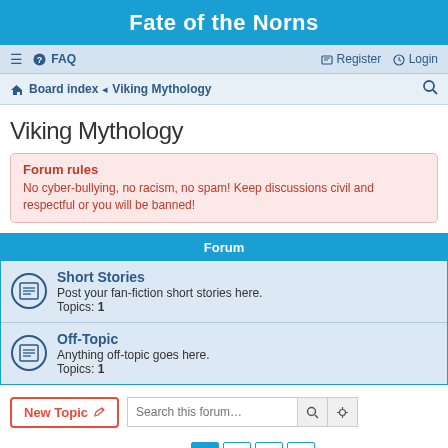Fate of the Norns
≡  FAQ    Register  Login
Board index · Viking Mythology  🔍
Viking Mythology
Forum rules
No cyber-bullying, no racism, no spam! Keep discussions civil and respectful or you will be banned!
| Forum |
| --- |
| Short Stories | Post your fan-fiction short stories here. | Topics: 1 |
| Off-Topic | Anything off-topic goes here. | Topics: 1 |
New Topic  Search this forum…
64 topics  1  2  3  >